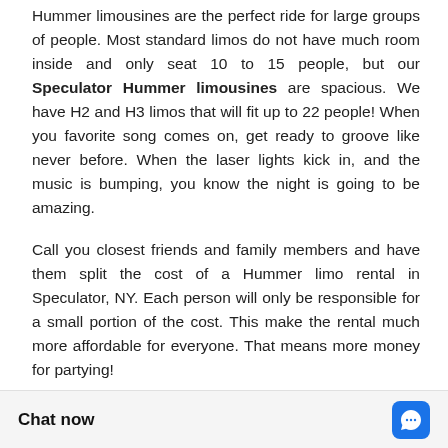Hummer limousines are the perfect ride for large groups of people. Most standard limos do not have much room inside and only seat 10 to 15 people, but our Speculator Hummer limousines are spacious. We have H2 and H3 limos that will fit up to 22 people! When you favorite song comes on, get ready to groove like never before. When the laser lights kick in, and the music is bumping, you know the night is going to be amazing.
Call you closest friends and family members and have them split the cost of a Hummer limo rental in Speculator, NY. Each person will only be responsible for a small portion of the cost. This make the rental much more affordable for everyone. That means more money for partying!
Hummer Limos are perfect for bachelor and bachelorette parties. Our pink Hummer limo is a huge hit for birthdays, kids par... Hummer limo is popu...